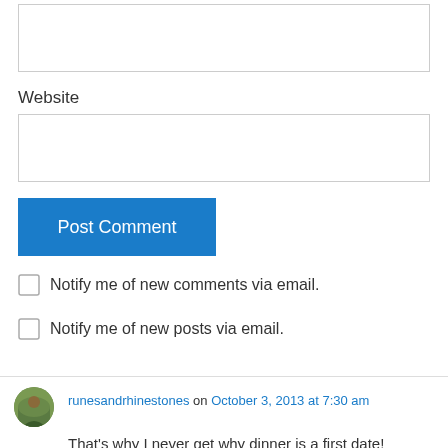Website
Post Comment
Notify me of new comments via email.
Notify me of new posts via email.
runesandrhinestones on October 3, 2013 at 7:30 am
That's why I never get why dinner is a first date! There's the stress of what to order, who's paying the bill, how to eat without scarfing it all in ten